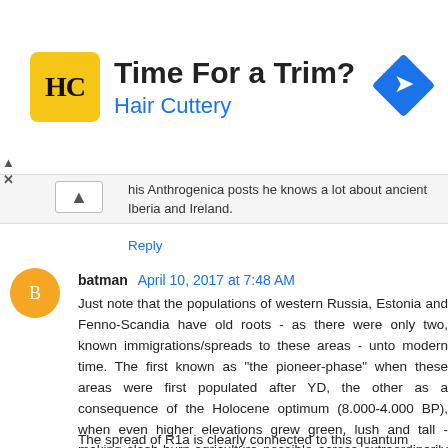[Figure (other): Advertisement banner for Hair Cuttery with logo, text 'Time For a Trim?' and 'Hair Cuttery', and a blue direction sign icon.]
his Anthrogenica posts he knows a lot about ancient Iberia and Ireland.
Reply
batman  April 10, 2017 at 7:48 AM
Just note that the populations of western Russia, Estonia and Fenno-Scandia have old roots - as there were only two, known immigrations/spreads to these areas - unto modern time. The first known as "the pioneer-phase" when these areas were first populated after YD, the other as a consequence of the Holocene optimum (8.000-4.000 BP), when even higher elevations grew green, lush and tall - making slash-burn-agriculture possible across extraordinarily wide areas.
The spread of R1a is clearly connected to this quantum